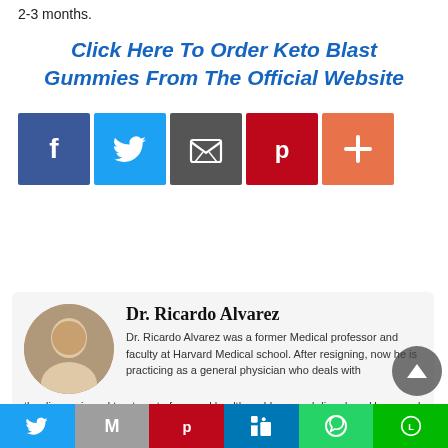2-3 months.
Click Here To Order Keto Blast Gummies From The Official Website
[Figure (infographic): Row of 5 social share buttons: Facebook (blue), Twitter (light blue), Email/envelope (dark gray), Pinterest (red), Plus/more (orange-red)]
Dr. Ricardo Alvarez
Dr. Ricardo Alvarez was a former Medical professor and faculty at Harvard Medical school. After resigning, now he is practicing as a general physician who deals with the diagnosis and treatment of general health problems and disorders. He earned his MS and PhD from Columbia University. Ricardo Alvarez completed his undergraduate education from an accredited medical college under the University of London and completed his training from
[Figure (infographic): Bottom navigation bar with 6 social sharing icons: Twitter, Gmail (M), Pinterest, LinkedIn, WhatsApp, Line]